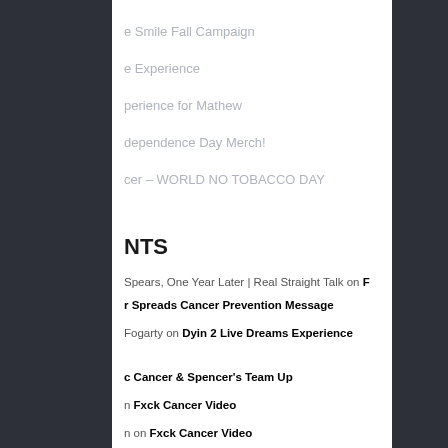e Smile Fall Campaign
e Experience
perience for Mathew
dependence Day Merch!
cer – WORLD NO TOBACCO DAY
NTS
Spears, One Year Later | Real Straight Talk on F
r Spreads Cancer Prevention Message
Fogarty on Dyin 2 Live Dreams Experience
c Cancer & Spencer's Team Up
n Fxck Cancer Video
n on Fxck Cancer Video